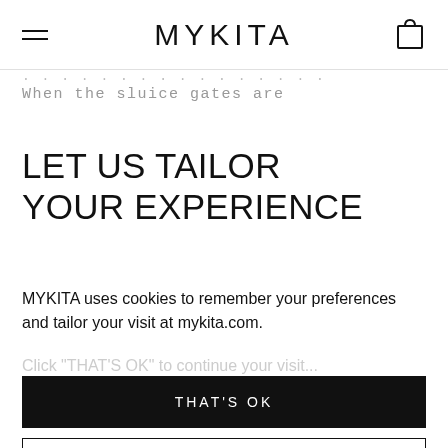MYKITA
When the sluice gates are
LET US TAILOR YOUR EXPERIENCE
MYKITA uses cookies to remember your preferences and tailor your visit at mykita.com.
THAT'S OK
SET PREFERENCES